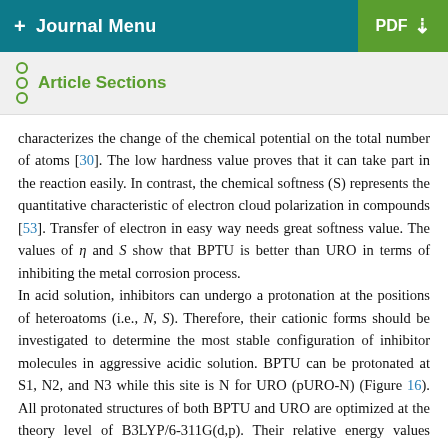+ Journal Menu   PDF ↓
Article Sections
characterizes the change of the chemical potential on the total number of atoms [30]. The low hardness value proves that it can take part in the reaction easily. In contrast, the chemical softness (S) represents the quantitative characteristic of electron cloud polarization in compounds [53]. Transfer of electron in easy way needs great softness value. The values of η and S show that BPTU is better than URO in terms of inhibiting the metal corrosion process.
In acid solution, inhibitors can undergo a protonation at the positions of heteroatoms (i.e., N, S). Therefore, their cationic forms should be investigated to determine the most stable configuration of inhibitor molecules in aggressive acidic solution. BPTU can be protonated at S1, N2, and N3 while this site is N for URO (pURO-N) (Figure 16). All protonated structures of both BPTU and URO are optimized at the theory level of B3LYP/6-311G(d,p). Their relative energy values comparing to pBPTU-S1 are demonstrated in parentheses.